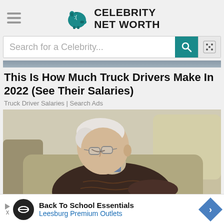CELEBRITY NET WORTH
Search for a Celebrity...
This Is How Much Truck Drivers Make In 2022 (See Their Salaries)
Truck Driver Salaries | Search Ads
[Figure (photo): Elderly man with white hair and glasses sleeping in a beige armchair, wearing a dark brown cable-knit sweater over a plaid shirt]
Back To School Essentials Leesburg Premium Outlets